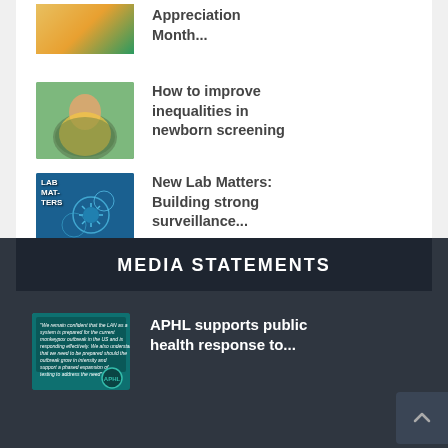[Figure (photo): Partial image of appreciation month graphic with orange/teal colors]
Appreciation Month...
[Figure (photo): Adult holding a newborn baby in yellow outfit on green grass]
How to improve inequalities in newborn screening
[Figure (photo): Lab Matters magazine cover with microscopic virus particles in blue water]
New Lab Matters: Building strong surveillance...
MEDIA STATEMENTS
[Figure (photo): APHL quote card in teal with text about monkeypox response]
APHL supports public health response to...